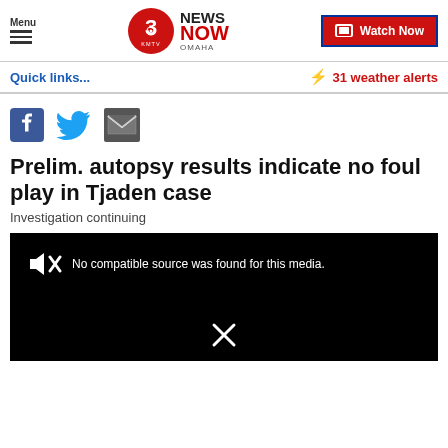[Figure (screenshot): KMTV 3 News Now Omaha navigation header with Menu, logo, and Watch Now button]
Quick links...
⚡ 31 weather alerts
[Figure (infographic): Social sharing icons: Facebook, Twitter, Email]
Prelim. autopsy results indicate no foul play in Tjaden case
Investigation continuing
[Figure (screenshot): Video player showing: No compatible source was found for this media.]